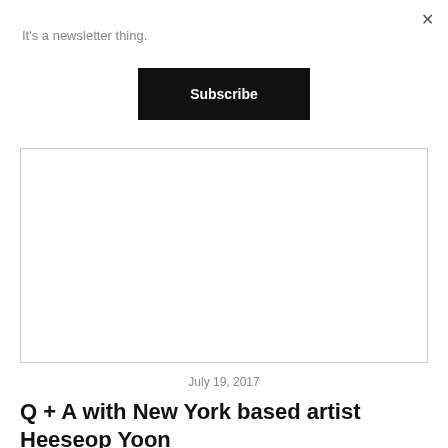It's a newsletter thing.
×
Subscribe
[Figure (other): Large white/blank image placeholder with light gray border]
July 19, 2017
Q + A with New York based artist Heeseop Yoon